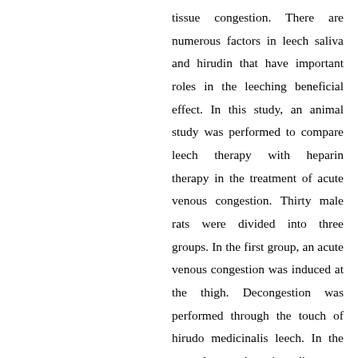tissue congestion. There are numerous factors in leech saliva and hirudin that have important roles in the leeching beneficial effect. In this study, an animal study was performed to compare leech therapy with heparin therapy in the treatment of acute venous congestion. Thirty male rats were divided into three groups. In the first group, an acute venous congestion was induced at the thigh. Decongestion was performed through the touch of hirudo medicinalis leech. In the second group, heparin sodium was injected, after tourniquet removal. Eventually, no treatment or procedure was performed in the third group after opening of tourniquet. Histopathological and biochemical analysis were performed in these rat. Edema size in heparin therapy and control groups was significantly greater than leech therapy group.